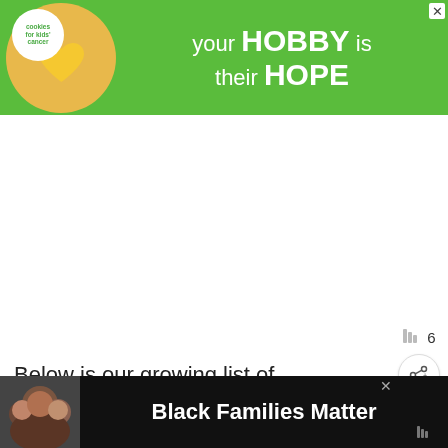[Figure (infographic): Green advertisement banner for 'Cookies for Kids Cancer' charity with text 'your HOBBY is their HOPE', showing hands holding a heart-shaped cookie. X close button in top right.]
Below is our growing list of dog prices by breed.
[Figure (infographic): Teal heart/like button (circle), comment icon with number 6, and share button (circle with share icon) on right side of page.]
[Figure (infographic): WHAT'S NEXT → box showing a pug photo thumbnail with text 'Pug Price and Cost- How...']
Just scroll through to check out the many
[Figure (infographic): Bottom banner ad on dark background with a photo of a smiling African American family and bold white text 'Black Families Matter', with X close button and small logo on right.]